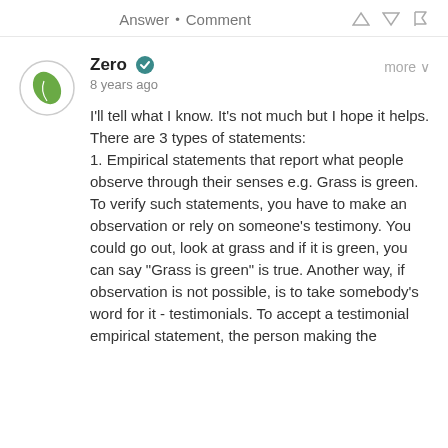Answer • Comment
Zero
8 years ago
I'll tell what I know. It's not much but I hope it helps.
There are 3 types of statements:
1. Empirical statements that report what people observe through their senses e.g. Grass is green. To verify such statements, you have to make an observation or rely on someone's testimony. You could go out, look at grass and if it is green, you can say "Grass is green" is true. Another way, if observation is not possible, is to take somebody's word for it - testimonials. To accept a testimonial empirical statement, the person making the